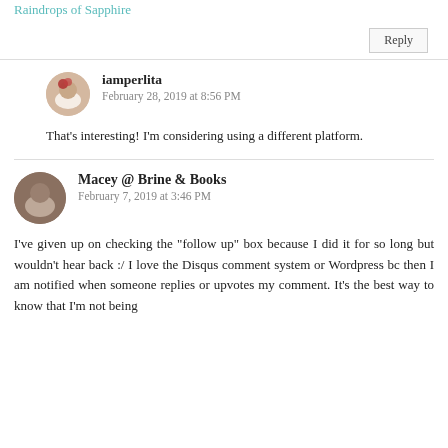Raindrops of Sapphire
Reply
iamperlita
February 28, 2019 at 8:56 PM
That's interesting! I'm considering using a different platform.
Macey @ Brine & Books
February 7, 2019 at 3:46 PM
I've given up on checking the "follow up" box because I did it for so long but wouldn't hear back :/ I love the Disqus comment system or Wordpress bc then I am notified when someone replies or upvotes my comment. It's the best way to know that I'm not being